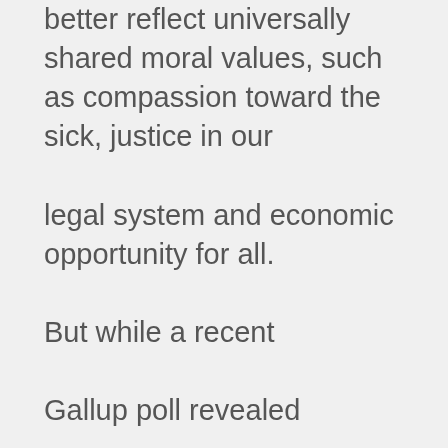better reflect universally shared moral values, such as compassion toward the sick, justice in our legal system and economic opportunity for all. But while a recent Gallup poll revealed that a majority of Americans support legalizing marijuana, and our junior U.S. Senator's father, Ron Paul-a legal pot proponent-has run well in the early GOP presidential primaries, I concede that legalizing marijuana is still a few political cycles away. Additionally, any meaningful